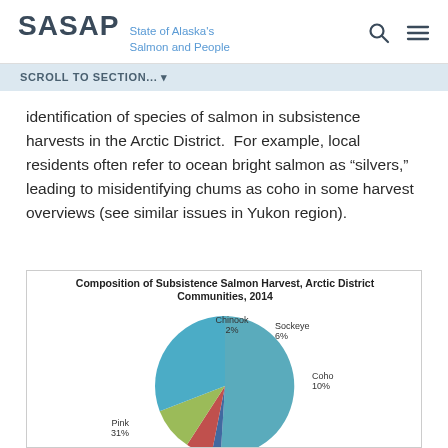SASAP State of Alaska's Salmon and People
SCROLL TO SECTION... ▾
identification of species of salmon in subsistence harvests in the Arctic District. For example, local residents often refer to ocean bright salmon as "silvers," leading to misidentifying chums as coho in some harvest overviews (see similar issues in Yukon region).
[Figure (pie-chart): Composition of Subsistence Salmon Harvest, Arctic District Communities, 2014]